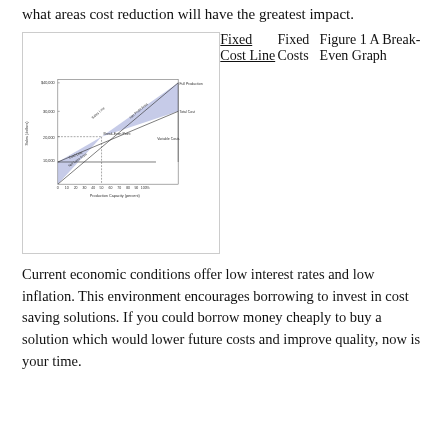what areas cost reduction will have the greatest impact.
[Figure (continuous-plot): A break-even graph showing Sales Line and Cost Line intersecting at the Break-Even Point at approximately 50% production capacity and $20,000. The area above the break-even point is labeled 'Net Profit Area' and below is 'Net Loss Area'. Y-axis shows Sales (dollars) from 0 to $40,000. X-axis shows Production Capacity (percent) from 0 to 100%. Labels include: Full Production, Total Cost, Variable Costs, Fixed Cost Line, Fixed Costs.]
Current economic conditions offer low interest rates and low inflation. This environment encourages borrowing to invest in cost saving solutions. If you could borrow money cheaply to buy a solution which would lower future costs and improve quality, now is your time.